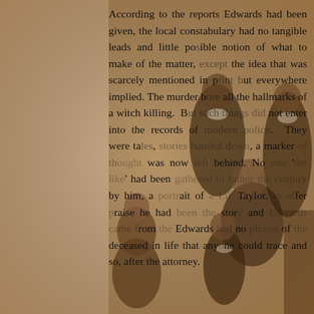[Figure (photo): Sepia-toned vintage family portrait photograph overlaid with text. Shows a Victorian-era family group — a man on the left, two women, and three children, all dressed in dark formal clothing with white lace collars.]
According to the reports Edwards had been given, the local constabulary had no tangible leads and little possible notion of what to make of the matter, except the idea that was scarcely mentioned in print but everywhere implied. The murder bore all the hallmarks of a witch killing. But such things did not enter into the records of modern police. They were tales, stories handed down, a marker of thought was now left behind. No one 'the like' had been gathered to attend the century by him, a portrait of a Lil' Taylor, to offer praise he had been the story and Edwards came from Edwards had no photos of the deceased in life that anyone could trace and so, after the attorney.